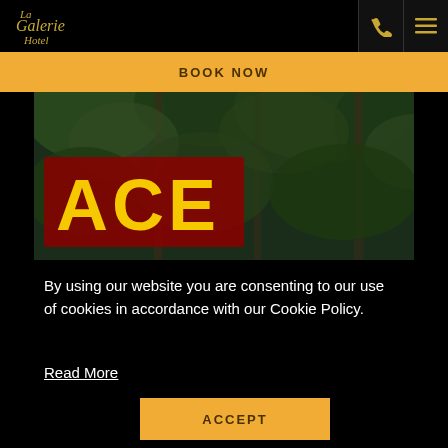[Figure (logo): La Galerie Hotel logo in gold italic script on black background]
[Figure (other): Phone icon in gold on dark background]
[Figure (other): Hamburger menu icon in gold on dark background]
BOOK NOW
[Figure (photo): Outdoor photo showing an ACE sign in large yellow letters with red outline, set against lush green tropical foliage and tree trunks in the background]
By using our website you are consenting to our use of cookies in accordance with our Cookie Policy.
Read More
ACCEPT